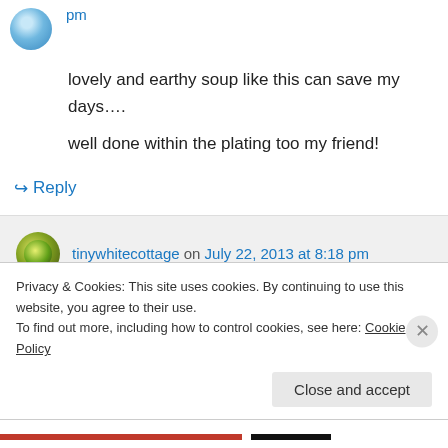pm
lovely and earthy soup like this can save my days….
well done within the plating too my friend!
↳ Reply
tinywhitecottage on July 22, 2013 at 8:18 pm
Thank you so much for the compliment!
Privacy & Cookies: This site uses cookies. By continuing to use this website, you agree to their use.
To find out more, including how to control cookies, see here: Cookie Policy
Close and accept